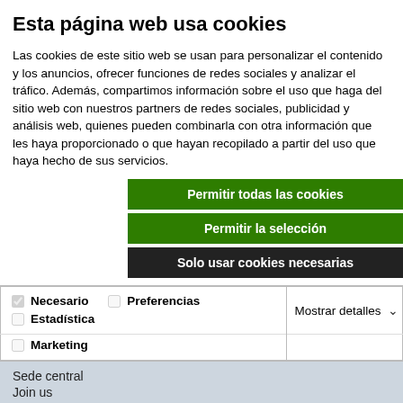Esta página web usa cookies
Las cookies de este sitio web se usan para personalizar el contenido y los anuncios, ofrecer funciones de redes sociales y analizar el tráfico. Además, compartimos información sobre el uso que haga del sitio web con nuestros partners de redes sociales, publicidad y análisis web, quienes pueden combinarla con otra información que les haya proporcionado o que hayan recopilado a partir del uso que haya hecho de sus servicios.
Permitir todas las cookies
Permitir la selección
Solo usar cookies necesarias
| Necesario | Preferencias | Estadística | Mostrar detalles |
| --- | --- | --- | --- |
| ✓ Necesario | Preferencias | Estadística | Mostrar detalles |
| Marketing |  |  |  |
Sede central
Join us
ÁREA RESERVADA
Web Mail
Acceda a SELECT